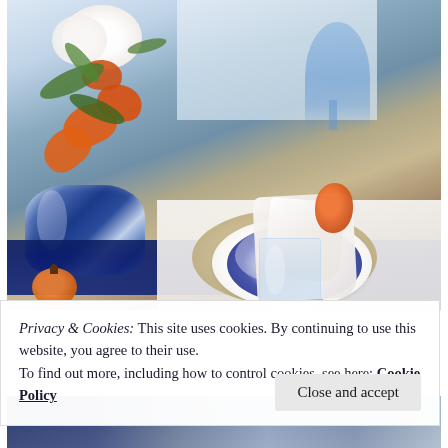[Figure (photo): A beautifully set dining table with a blue and white ginger jar floral arrangement featuring white roses and orange tulips, blue navy table runner, a place setting with layered plates (white charger, blue checkered dinner plate), a white napkin with an orange bow/ribbon, a water glass and blue wine glass, a beige woven placemat, and a small orange pumpkin accent.]
Privacy & Cookies: This site uses cookies. By continuing to use this website, you agree to their use. To find out more, including how to control cookies, see here: Cookie Policy